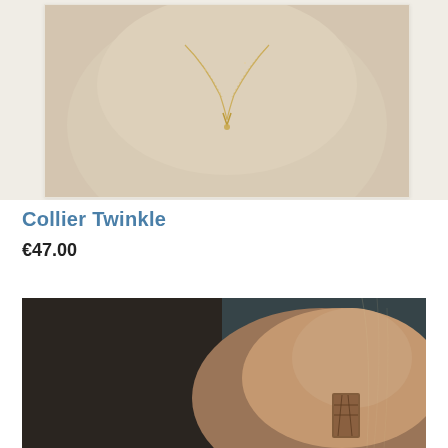[Figure (photo): Close-up photo of a delicate gold twinkle necklace on a person's neck/chest, polaroid-style frame, warm beige/cream tones]
Collier Twinkle
€47.00
[Figure (photo): Close-up dark-toned photo of a person's ear with a brown/earth-toned geometric earring, dark teal/brown background]